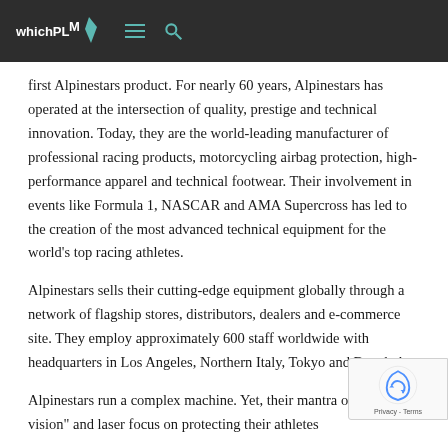whichPLM
first Alpinestars product. For nearly 60 years, Alpinestars has operated at the intersection of quality, prestige and technical innovation. Today, they are the world-leading manufacturer of professional racing products, motorcycling airbag protection, high-performance apparel and technical footwear. Their involvement in events like Formula 1, NASCAR and AMA Supercross has led to the creation of the most advanced technical equipment for the world's top racing athletes.
Alpinestars sells their cutting-edge equipment globally through a network of flagship stores, distributors, dealers and e-commerce site. They employ approximately 600 staff worldwide with headquarters in Los Angeles, Northern Italy, Tokyo and Bangkok.
Alpinestars run a complex machine. Yet, their mantra of goal, one vision" and laser focus on protecting their athletes